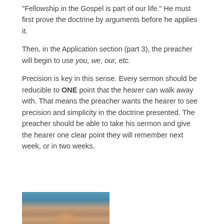“Fellowship in the Gospel is part of our life.” He must first prove the doctrine by arguments before he applies it.
Then, in the Application section (part 3), the preacher will begin to use you, we, our, etc.
Precision is key in this sense. Every sermon should be reducible to ONE point that the hearer can walk away with. That means the preacher wants the hearer to see precision and simplicity in the doctrine presented. The preacher should be able to take his sermon and give the hearer one clear point they will remember next week, or in two weeks.
[Figure (photo): Partial photo of a person, cropped at the bottom of the page, showing the top of a head and upper face against a blue/teal patterned background.]